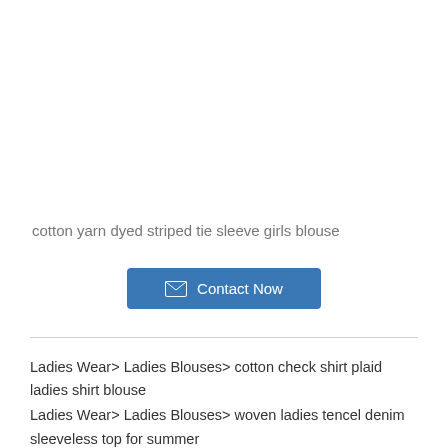cotton yarn dyed striped tie sleeve girls blouse
[Figure (other): Contact Now button with envelope icon, blue background]
Ladies Wear> Ladies Blouses> cotton check shirt plaid ladies shirt blouse
Ladies Wear> Ladies Blouses> woven ladies tencel denim sleeveless top for summer
Ladies Wear> Ladies Blouses> ladies woven printed blue stripe shirt